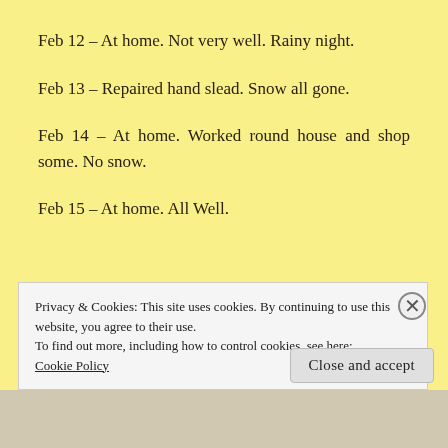Feb 12 – At home. Not very well. Rainy night.
Feb 13 – Repaired hand slead. Snow all gone.
Feb 14 – At home. Worked round house and shop some. No snow.
Feb 15 – At home. All Well.
Privacy & Cookies: This site uses cookies. By continuing to use this website, you agree to their use.
To find out more, including how to control cookies, see here:
Cookie Policy
Close and accept